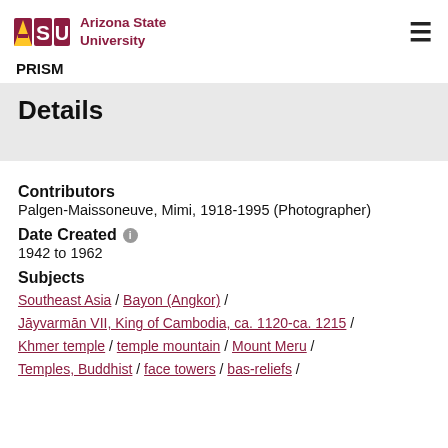Arizona State University — PRISM
Details
Contributors
Palgen-Maissoneuve, Mimi, 1918-1995 (Photographer)
Date Created
1942 to 1962
Subjects
Southeast Asia / Bayon (Angkor) / Jāyvarmān VII, King of Cambodia, ca. 1120-ca. 1215 / Khmer temple / temple mountain / Mount Meru / Temples, Buddhist / face towers / bas-reliefs /